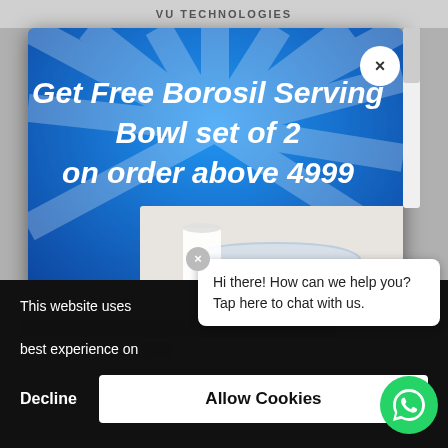VU TECHNOLOGIES
[Figure (screenshot): Popup modal advertisement on blue background with sunray pattern. Text reads: Get Free Borosil Serving Bowl set of 2 on order above 4999. Shows a glass bowl with food (rice/chickpeas).]
This website uses cookies to ensure you get the best experience on our website.
Hi there! How can we help you? Tap here to chat with us.
Decline
Allow Cookies